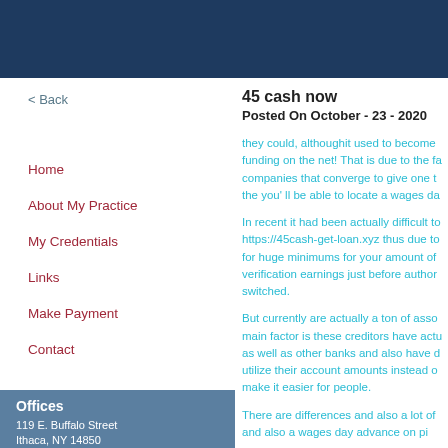< Back
Home
About My Practice
My Credentials
Links
Make Payment
Contact
Offices
119 E. Buffalo Street
Ithaca, NY 14850
(map)
607-387-5925
45 cash now
Posted On October - 23 - 2020
they could, althoughit used to become funding on the net! That is due to the fa companies that converge to give one t the you' ll be able to locate a wages da
In recent it had been actually difficult to https://45cash-get-loan.xyz thus due to for huge minimums for your amount of verification earnings just before author switched.
But currently are actually a ton of asso main factor is these creditors have actu as well as other banks and also have d utilize their account amounts instead o make it easier for people.
There are differences and also a lot of and also a wages day advance on pi